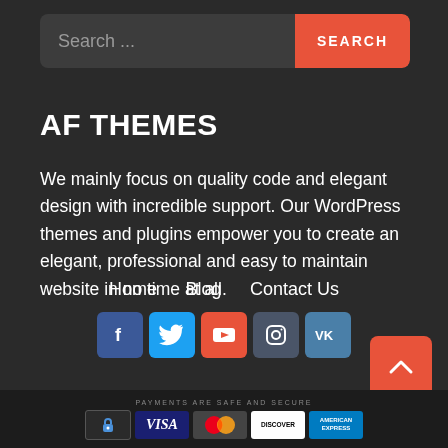Search ...  SEARCH
AF THEMES
We mainly focus on quality code and elegant design with incredible support. Our WordPress themes and plugins empower you to create an elegant, professional and easy to maintain website in no time at all.
Home  Blog  Contact Us
[Figure (infographic): Social media icons row: Facebook, Twitter, YouTube, Instagram, VK]
[Figure (infographic): Scroll to top arrow button (orange)]
[Figure (infographic): Payment methods bar: lock icon, VISA, MasterCard, Discover, American Express — labeled PAYMENTS ARE SAFE AND SECURE]